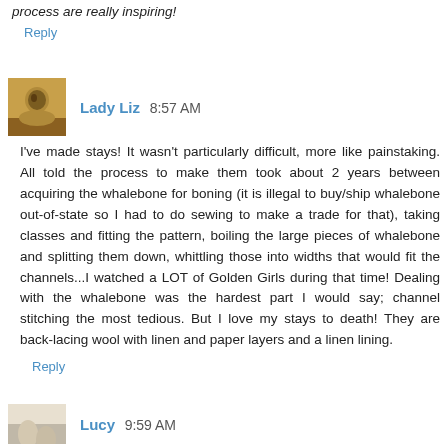process are really inspiring!
Reply
Lady Liz  8:57 AM
I've made stays! It wasn't particularly difficult, more like painstaking. All told the process to make them took about 2 years between acquiring the whalebone for boning (it is illegal to buy/ship whalebone out-of-state so I had to do sewing to make a trade for that), taking classes and fitting the pattern, boiling the large pieces of whalebone and splitting them down, whittling those into widths that would fit the channels...I watched a LOT of Golden Girls during that time! Dealing with the whalebone was the hardest part I would say; channel stitching the most tedious. But I love my stays to death! They are back-lacing wool with linen and paper layers and a linen lining.
Reply
Lucy  9:59 AM